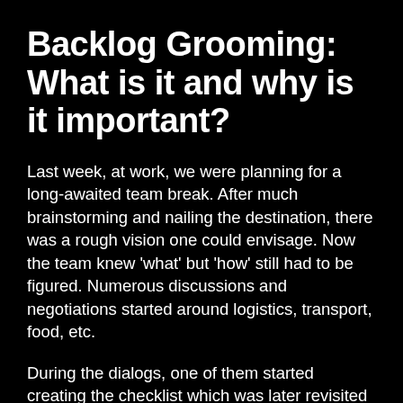Backlog Grooming: What is it and why is it important?
Last week, at work, we were planning for a long-awaited team break. After much brainstorming and nailing the destination, there was a rough vision one could envisage. Now the team knew 'what' but 'how' still had to be figured. Numerous discussions and negotiations started around logistics, transport, food, etc.
During the dialogs, one of them started creating the checklist which was later revisited a few times and not to mention the re-prioritization of some entries. Yes, even in our day to day life we can witness many situations that can actually relate to the process we talk about during work hours. Here, the colleagues